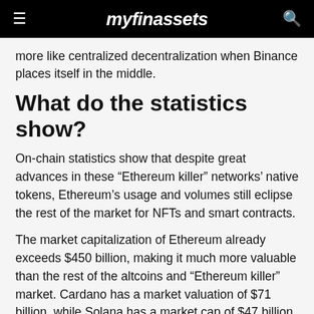myfinassets
more like centralized decentralization when Binance places itself in the middle.
What do the statistics show?
On-chain statistics show that despite great advances in these “Ethereum killer” networks’ native tokens, Ethereum’s usage and volumes still eclipse the rest of the market for NFTs and smart contracts.
The market capitalization of Ethereum already exceeds $450 billion, making it much more valuable than the rest of the altcoins and “Ethereum killer” market. Cardano has a market valuation of $71 billion, while Solana has a market cap of $47 billion, BSC $77 billion, and Polkadot $39 billion. The combined market capitalization of the so-called